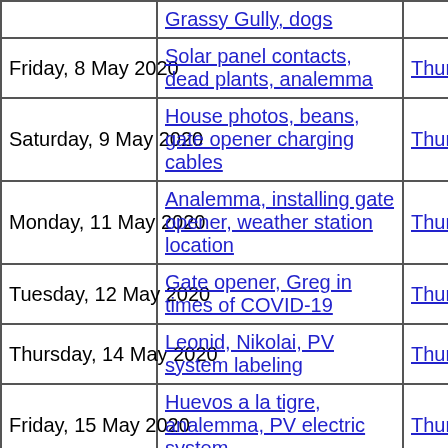| Date | Description | Thumbnails | Small photos | dia |
| --- | --- | --- | --- | --- |
|  | Grassy Gully, dogs |  |  |  |
| Friday, 8 May 2020 | Solar panel contacts, dead plants, analemma | Thumbnails | Small photos | dia |
| Saturday, 9 May 2020 | House photos, beans, gate opener charging cables | Thumbnails | Small photos | dia |
| Monday, 11 May 2020 | Analemma, installing gate opener, weather station location | Thumbnails | Small photos | dia |
| Tuesday, 12 May 2020 | Gate opener, Greg in times of COVID-19 | Thumbnails | Small photos | dia |
| Thursday, 14 May 2020 | Leonid, Nikolai, PV system labeling | Thumbnails | Small photos | dia |
| Friday, 15 May 2020 | Huevos a la tigre, analemma, PV electric system | Thumbnails | Small photos | dia |
| Saturday, 16 May 2020 | Analemma, house photos, kitchen clock, garden flowers, mystery acacia, pommes non-soufflées, Nikon F | Thumbnails | Small photos | dia |
| Sunday, 17... | Analemma, |  | Small... |  |